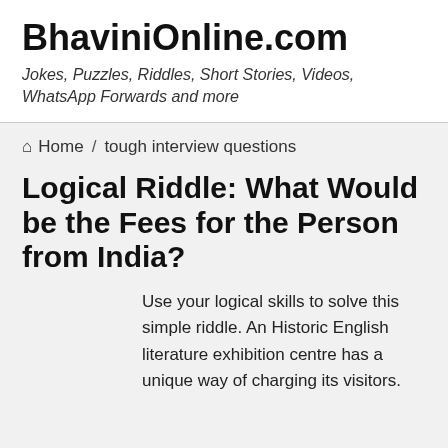BhaviniOnline.com
Jokes, Puzzles, Riddles, Short Stories, Videos, WhatsApp Forwards and more
🏠 Home / tough interview questions
Logical Riddle: What Would be the Fees for the Person from India?
Use your logical skills to solve this simple riddle. An Historic English literature exhibition centre has a unique way of charging its visitors.